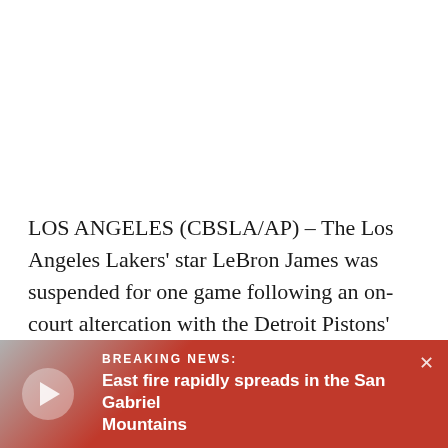LOS ANGELES (CBSLA/AP) – The Los Angeles Lakers' star LeBron James was suspended for one game following an on-court altercation with the Detroit Pistons' center Isaiah Stewart, which left the latter bloodied. Stewart was suspended two games for his part in the incident.
BREAKING NEWS: East fire rapidly spreads in the San Gabriel Mountains